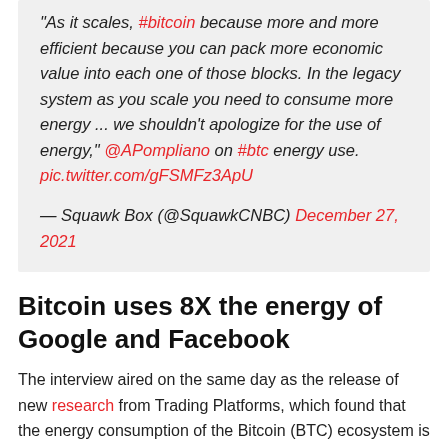"As it scales, #bitcoin because more and more efficient because you can pack more economic value into each one of those blocks. In the legacy system as you scale you need to consume more energy ... we shouldn't apologize for the use of energy," @APompliano on #btc energy use. pic.twitter.com/gFSMFz3ApU
— Squawk Box (@SquawkCNBC) December 27, 2021
Bitcoin uses 8X the energy of Google and Facebook
The interview aired on the same day as the release of new research from Trading Platforms, which found that the energy consumption of the Bitcoin (BTC) ecosystem is eight times the amount of both Google and Facebook combined.